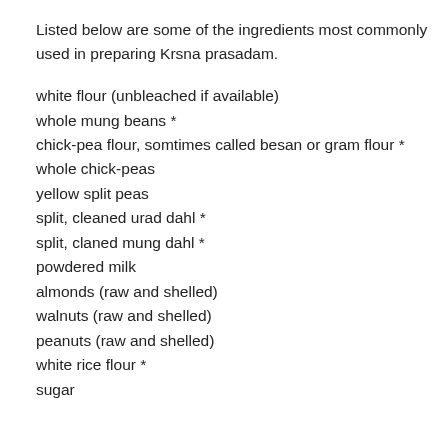Listed below are some of the ingredients most commonly used in preparing Krsna prasadam.
white flour (unbleached if available)
whole mung beans *
chick-pea flour, somtimes called besan or gram flour *
whole chick-peas
yellow split peas
split, cleaned urad dahl *
split, claned mung dahl *
powdered milk
almonds (raw and shelled)
walnuts (raw and shelled)
peanuts (raw and shelled)
white rice flour *
sugar